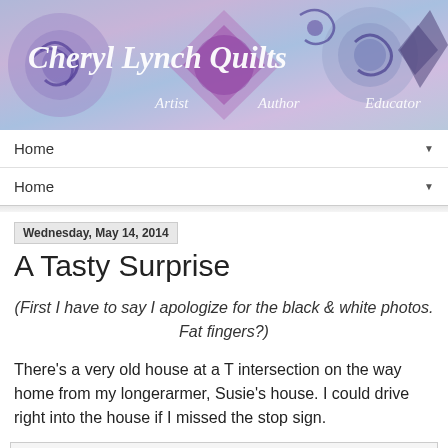[Figure (illustration): Colorful quilt banner header with purple, blue, and lavender tones showing quilt patterns with swirls and diamond shapes. Text reads 'Cheryl Lynch Quilts' with subtitle 'Artist  Author  Educator']
Home ▼
Home ▼
Wednesday, May 14, 2014
A Tasty Surprise
(First I have to say I apologize for the black & white photos. Fat fingers?)
There's a very old house at a T intersection on the way home from my longerarmer, Susie's house. I could drive right into the house if I missed the stop sign.
[Figure (photo): Partially visible photo at bottom of page, mostly cropped]